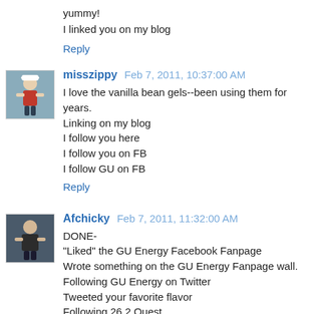yummy!
I linked you on my blog
Reply
[Figure (photo): Avatar photo of misszippy, a runner in a race]
misszippy Feb 7, 2011, 10:37:00 AM
I love the vanilla bean gels--been using them for years.
Linking on my blog
I follow you here
I follow you on FB
I follow GU on FB
Reply
[Figure (photo): Avatar photo of Afchicky, a person at a race]
Afchicky Feb 7, 2011, 11:32:00 AM
DONE-
"Liked" the GU Energy Facebook Fanpage
Wrote something on the GU Energy Fanpage wall.
Following GU Energy on Twitter
Tweeted your favorite flavor
Following 26.2 Quest